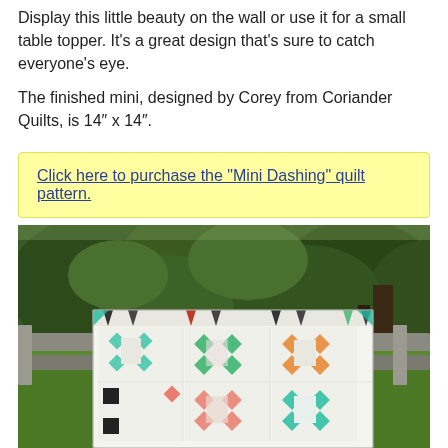Display this little beauty on the wall or use it for a small table topper. It’s a great design that’s sure to catch everyone’s eye.
The finished mini, designed by Corey from Coriander Quilts, is 14″ x 14″.
Click here to purchase the “Mini Dashing” quilt pattern.
[Figure (photo): A colorful quilt displayed over a wooden fence outdoors, showing a patchwork design with star blocks in various colors including green, orange, teal, red, and pink on a white background, set against a lush green garden.]